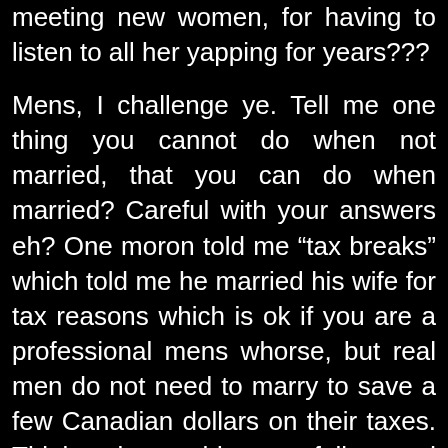meeting new women, for having to listen to all her yapping for years???
Mens, I challenge ye. Tell me one thing you cannot do when not married, that you can do when married? Careful with your answers eh? One moron told me “tax breaks” which told me he married his wife for tax reasons which is ok if you are a professional mens whorse, but real men do not need to marry to save a few Canadian dollars on their taxes. Think about this carefully, and unless you’re a 70+ year old loser who needs to get his bargirl wife a visa, tell me one single good reason to get married? There is no legal thing your solicitor could not do by way of legal documents, you can have kids (do not know why you would want to), you can live together (don’t you guys ever learn?), you can do anything you want with that